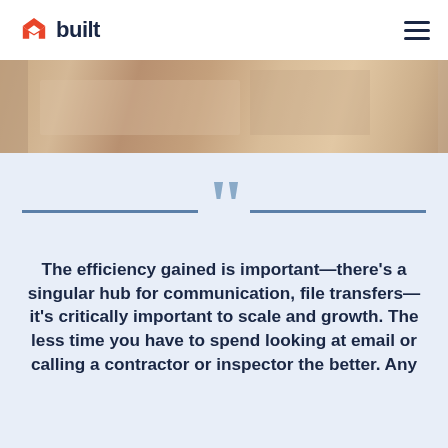built
[Figure (photo): Construction site photo showing workers or materials, warm sandy/beige tones]
The efficiency gained is important—there's a singular hub for communication, file transfers—it's critically important to scale and growth. The less time you have to spend looking at email or calling a contractor or inspector the better. Any